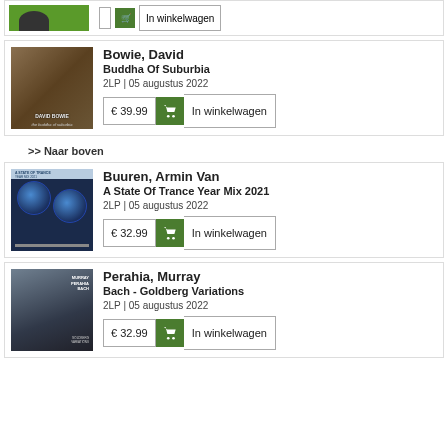[Figure (photo): Partial top of a product card showing an album cover image (green background)]
Bowie, David
Buddha Of Suburbia
2LP | 05 augustus 2022
€ 39.99  In winkelwagen
>> Naar boven
Buuren, Armin Van
A State Of Trance Year Mix 2021
2LP | 05 augustus 2022
€ 32.99  In winkelwagen
Perahia, Murray
Bach - Goldberg Variations
2LP | 05 augustus 2022
€ 32.99  In winkelwagen